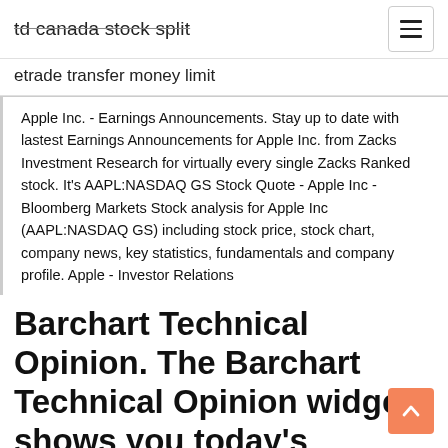td canada stock split
etrade transfer money limit
Apple Inc. - Earnings Announcements. Stay up to date with lastest Earnings Announcements for Apple Inc. from Zacks Investment Research for virtually every single Zacks Ranked stock. It's AAPL:NASDAQ GS Stock Quote - Apple Inc - Bloomberg Markets Stock analysis for Apple Inc (AAPL:NASDAQ GS) including stock price, stock chart, company news, key statistics, fundamentals and company profile. Apple - Investor Relations
Barchart Technical Opinion. The Barchart Technical Opinion widget shows you today's overally Barchart Opinion with general information on